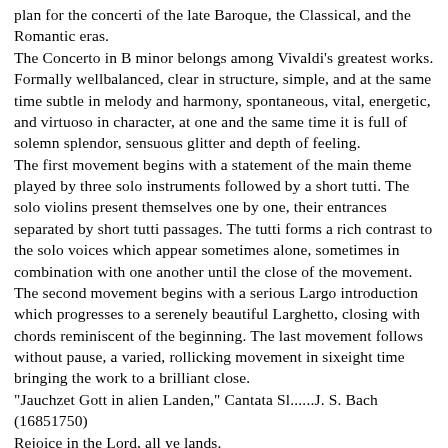plan for the concerti of the late Baroque, the Classical, and the Romantic eras. The Concerto in B minor belongs among Vivaldi's greatest works. Formally wellbalanced, clear in structure, simple, and at the same time subtle in melody and harmony, spontaneous, vital, energetic, and virtuoso in character, at one and the same time it is full of solemn splendor, sensuous glitter and depth of feeling. The first movement begins with a statement of the main theme played by three solo instruments followed by a short tutti. The solo violins present themselves one by one, their entrances separated by short tutti passages. The tutti forms a rich contrast to the solo voices which appear sometimes alone, sometimes in combination with one another until the close of the movement. The second movement begins with a serious Largo introduction which progresses to a serenely beautiful Larghetto, closing with chords reminiscent of the beginning. The last movement follows without pause, a varied, rollicking movement in sixeight time bringing the work to a brilliant close. "Jauchzet Gott in alien Landen," Cantata Sl......J. S. Bach (16851750) Rejoice in the Lord, all ye lands. All the creatures of heaven and earth His glory proclaim. Let us